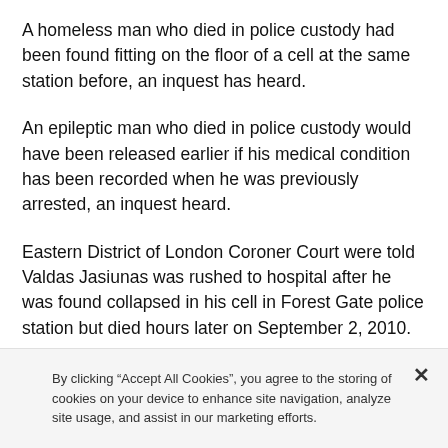A homeless man who died in police custody had been found fitting on the floor of a cell at the same station before, an inquest has heard.
An epileptic man who died in police custody would have been released earlier if his medical condition has been recorded when he was previously arrested, an inquest heard.
Eastern District of London Coroner Court were told Valdas Jasiunas was rushed to hospital after he was found collapsed in his cell in Forest Gate police station but died hours later on September 2, 2010.
The homeless 36-year-old Lithuanian, who was not a
By clicking “Accept All Cookies”, you agree to the storing of cookies on your device to enhance site navigation, analyze site usage, and assist in our marketing efforts.